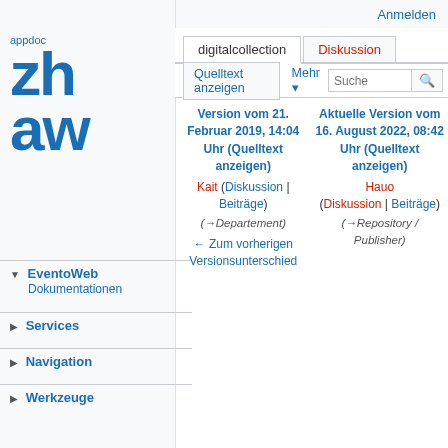Anmelden
[Figure (logo): appdoc ZHAW logo in blue]
EventoWeb Dokumentationen
Services
Navigation
Werkzeuge
digitalcollection | Diskussion | Quelltext anzeigen | Mehr
Version vom 21. Februar 2019, 14:04 Uhr (Quelltext anzeigen) Kait (Diskussion | Beiträge) (→Departement) ← Zum vorherigen Versionsunterschied
Aktuelle Version vom 16. August 2022, 08:42 Uhr (Quelltext anzeigen) Hauo (Diskussion | Beiträge) (→Repository / Publisher)
(277 dazwischenliegende Versionen von 3 Benutzern werden nicht